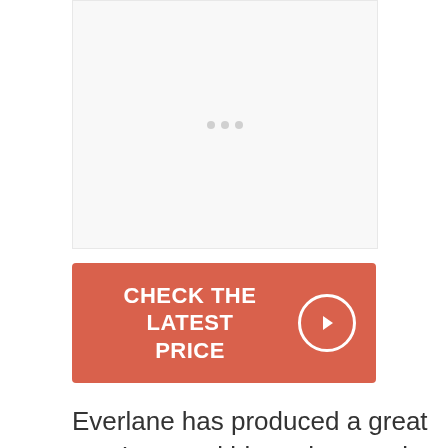[Figure (photo): Image placeholder with loading dots indicator]
CHECK THE LATEST PRICE
Everlane has produced a great men's casual blazer here, using an Italian-milled